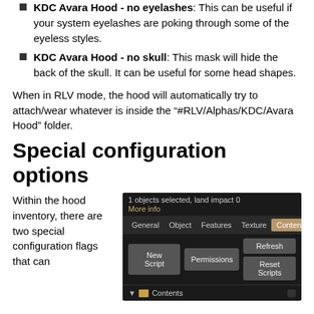KDC Avara Hood - no eyelashes: This can be useful if your system eyelashes are poking through some of the eyeless styles.
KDC Avara Hood - no skull: This mask will hide the back of the skull. It can be useful for some head shapes.
When in RLV mode, the hood will automatically try to attach/wear whatever is inside the "#RLV/Alphas/KDC/Avara Hood" folder.
Special configuration options
Within the hood inventory, there are two special configuration flags that can
[Figure (screenshot): Screenshot of a virtual world inventory editor showing '1 objects selected, land impact 0', a 'More info' link, tabs (General, Object, Features, Texture, Content with Content active), buttons (New Script, Permissions, Refresh, Reset Scripts), and a Contents folder section with a scrollbar.]